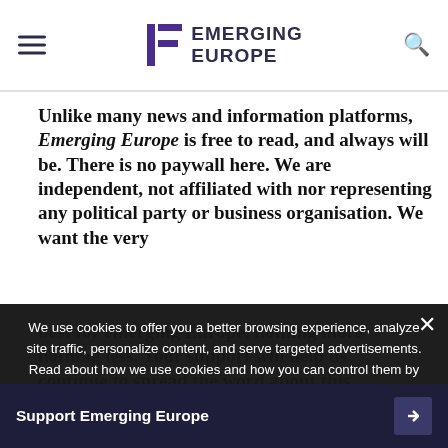Emerging Europe
Unlike many news and information platforms, Emerging Europe is free to read, and always will be. There is no paywall here. We are independent, not affiliated with nor representing any political party or business organisation. We want the very best for emerging Europe, nothing more nothing less. Your support will help us continue to spread the word about this amazing region.
We use cookies to offer you a better browsing experience, analyze site traffic, personalize content, and serve targeted advertisements. Read about how we use cookies and how you can control them by clicking "Privacy Preferences". If you continue to use this site, you consent to our use of cookies. More...
Support Emerging Europe